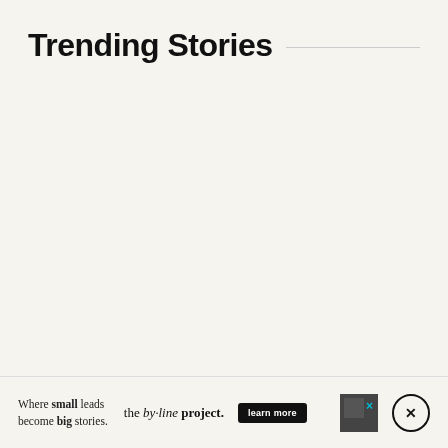Trending Stories
Where small leads become big stories. the by-line project. learn more